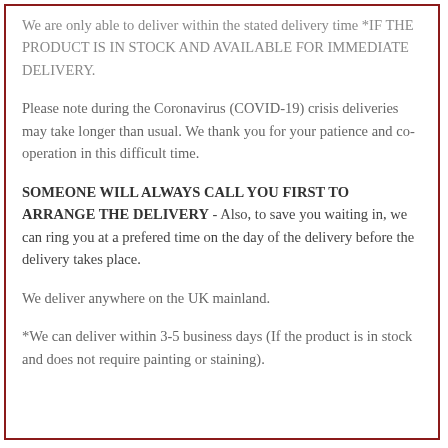We are only able to deliver within the stated delivery time *IF THE PRODUCT IS IN STOCK AND AVAILABLE FOR IMMEDIATE DELIVERY.
Please note during the Coronavirus (COVID-19) crisis deliveries may take longer than usual. We thank you for your patience and co-operation in this difficult time.
SOMEONE WILL ALWAYS CALL YOU FIRST TO ARRANGE THE DELIVERY - Also, to save you waiting in, we can ring you at a prefered time on the day of the delivery before the delivery takes place.
We deliver anywhere on the UK mainland.
*We can deliver within 3-5 business days (If the product is in stock and does not require painting or staining).